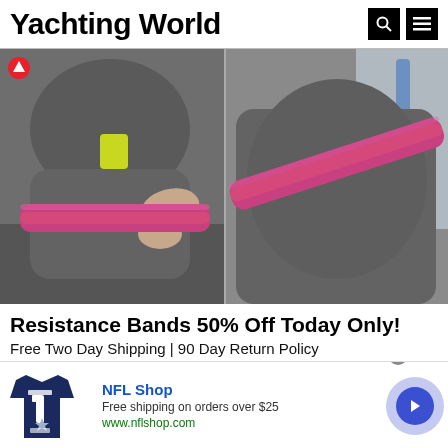Yachting World
[Figure (photo): Two side-by-side photos showing a person wearing grey athletic leggings using a pink resistance band: left image shows the band around the thighs/knees area with hands holding it, right image shows a close-up of the band around the upper thighs. A red up-arrow icon appears in the top-left corner.]
Resistance Bands 50% Off Today Only!
Free Two Day Shipping | 90 Day Return Policy
[Figure (screenshot): NFL Shop advertisement banner showing a navy blue #1 Dad jersey shirt, with text 'NFL Shop', 'Free shipping on orders over $25', 'www.nflshop.com', a close button (x), and a blue arrow button on the right.]